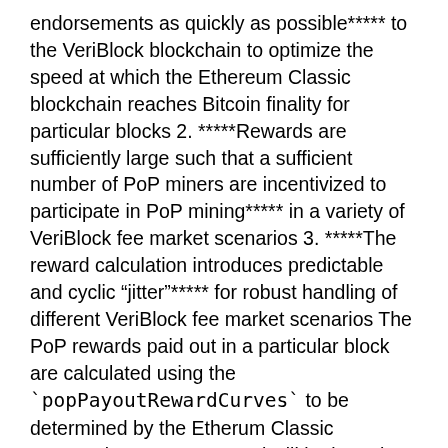endorsements as quickly as possible***** to the VeriBlock blockchain to optimize the speed at which the Ethereum Classic blockchain reaches Bitcoin finality for particular blocks 2. *****Rewards are sufficiently large such that a sufficient number of PoP miners are incentivized to participate in PoP mining***** in a variety of VeriBlock fee market scenarios 3. *****The reward calculation introduces predictable and cyclic “jitter”***** for robust handling of different VeriBlock fee market scenarios The PoP rewards paid out in a particular block are calculated using the `popPayoutRewardCurves` to be determined by the Etherum Classic community consensus, and will be based on the total number and relative timelinesses of the publications of endorsements of the block for which rewards are being paid out (block x pays out PoP rewards for endorsements of block `x – popRewardPaymentDelay`), and the recent publication quantities and timelinesses of blocks prior to block x. The exact weighting of past scores (the PoP difficulty) will be